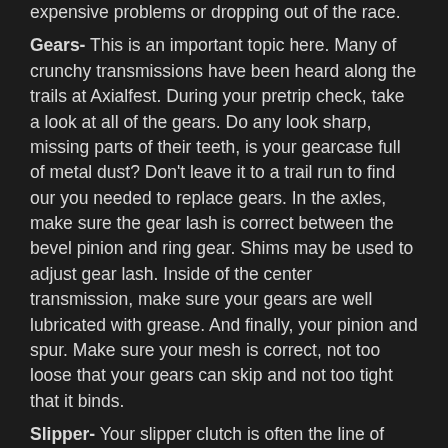expensive problems or dropping out of the race. Gears- This is an important topic here. Many of crunchy transmissions have been heard along the trails at Axialfest. During your pretrip check, take a look at all of the gears. Do any look sharp, missing parts of their teeth, is your gearcase full of metal dust? Don't leave it to a trail run to find our you needed to replace gears. In the axles, make sure the gear lash is correct between the bevel pinion and ring gear. Shims may be used to adjust gear lash. Inside of the center transmission, make sure your gears are well lubricated with grease. And finally, your pinion and spur. Make sure your mesh is correct, not too loose that your gears can skip and not too tight that it binds.
Slipper- Your slipper clutch is often the line of defense to protecting your transmission. When your rig gets caught up in a gap in the rocks and you pin the throttle, the slipper will slip rather than the gears skipping. You want the slipper tight enough so you get through gnarly obstacles, but you do need that slip for protection. A little trial and error works here in terms of setting. Always lean